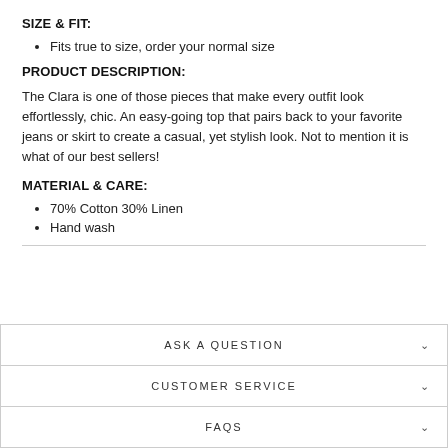SIZE & FIT:
Fits true to size, order your normal size
PRODUCT DESCRIPTION:
The Clara is one of those pieces that make every outfit look effortlessly, chic. An easy-going top that pairs back to your favorite jeans or skirt to create a casual, yet stylish look. Not to mention it is what of our best sellers!
MATERIAL & CARE:
70% Cotton 30% Linen
Hand wash
ASK A QUESTION
CUSTOMER SERVICE
FAQS